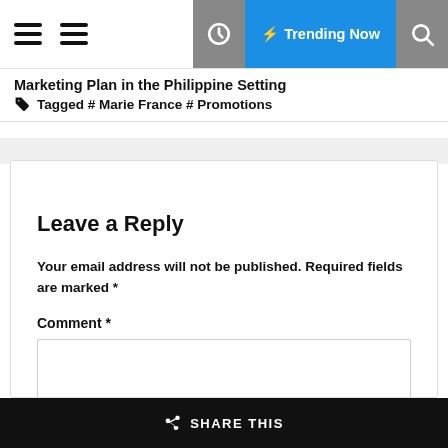Marketing Plan in the Philippine Setting  Tagged # Marie France # Promotions
Leave a Reply
Your email address will not be published. Required fields are marked *
Comment *
SHARE THIS